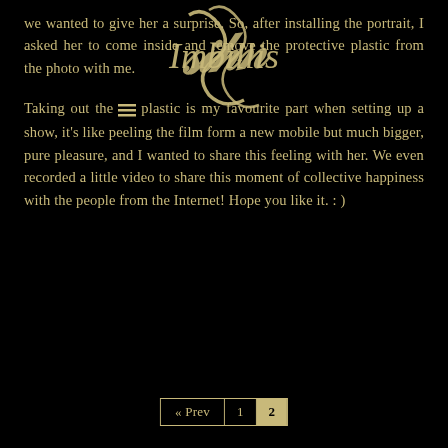[Figure (logo): Decorative calligraphic logo overlay text reading 'Imbibed' or similar, in gold, overlapping the top text block]
we wanted to give her a surprise. So, after installing the portrait, I asked her to come inside and remove the protective plastic from the photo with me.
Taking out the plastic is my favourite part when setting up a show, it's like peeling the film form a new mobile but much bigger, pure pleasure, and I wanted to share this feeling with her. We even recorded a little video to share this moment of collective happiness with the people from the Internet! Hope you like it. : )
« Prev  1  2